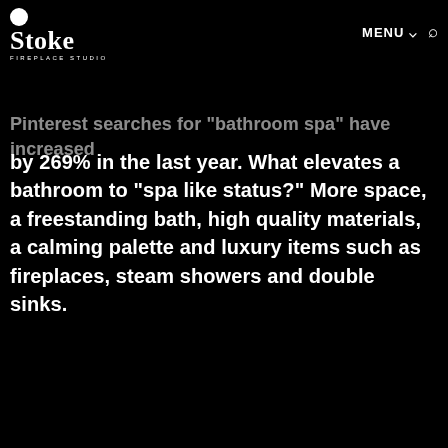Stoke Fireplace Studio — MENU
Spa inspired bathrooms
Pinterest searches for 'bathroom spa' have increased by 269% in the last year. What elevates a bathroom to "spa like status?" More space, a freestanding bath, high quality materials, a calming palette and luxury items such as fireplaces, steam showers and double sinks.